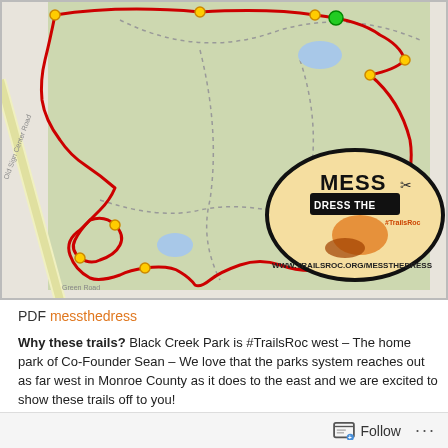[Figure (map): Trail map of Black Creek Park showing a red route overlaid on a topographic park map. An oval logo for 'Mess the Dress' event by TrailsRoc is shown in the lower right of the map, with text 'WWW.TRAILSROC.ORG/MESSTHEDRESS'.]
PDF messthedress
Why these trails? Black Creek Park is #TrailsRoc west – The home park of Co-Founder Sean – We love that the parks system reaches out as far west in Monroe County as it does to the east and we are excited to show these trails off to you!
#TrailsRoc Gives Back: each year, we donate proceeds from this race to a charity that benefits women. This year's (2016) recipient is the Willow
Follow ···